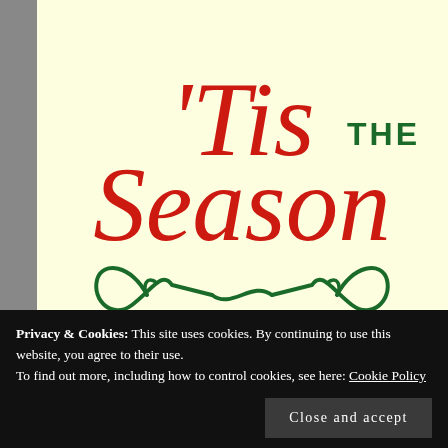[Figure (illustration): Decorative holiday illustration on cream/pale yellow background with red cursive script reading 'Tis the Season' and a dark green decorative flourish/infinity swirl beneath the text. 'THE' appears in dark green block letters between 'Tis' and 'Season'.]
Privacy & Cookies: This site uses cookies. By continuing to use this website, you agree to their use.
To find out more, including how to control cookies, see here: Cookie Policy
Close and accept